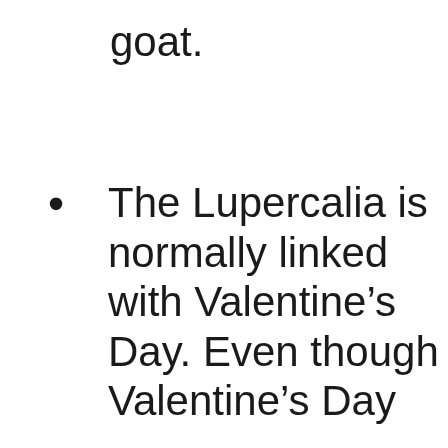goat.
The Lupercalia is normally linked with Valentine’s Day. Even though Valentine’s Day